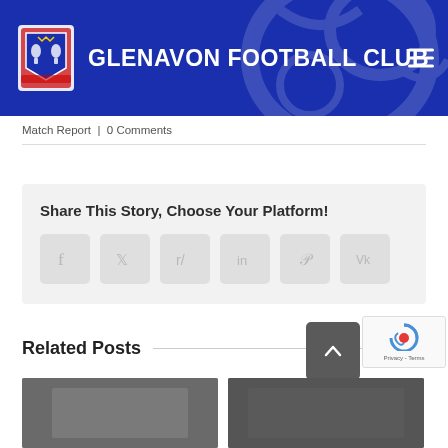GLENAVON FOOTBALL CLUB
Match Report | 0 Comments
Share This Story, Choose Your Platform!
Related Posts